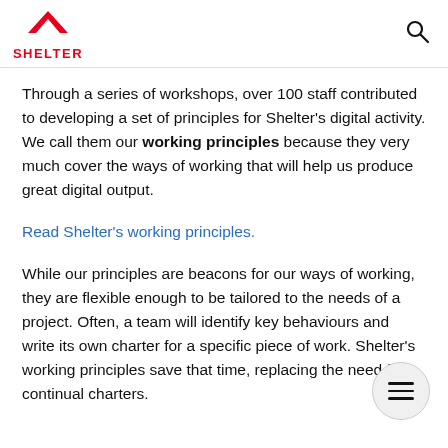SHELTER
Through a series of workshops, over 100 staff contributed to developing a set of principles for Shelter's digital activity. We call them our working principles because they very much cover the ways of working that will help us produce great digital output.
Read Shelter's working principles.
While our principles are beacons for our ways of working, they are flexible enough to be tailored to the needs of a project. Often, a team will identify key behaviours and write its own charter for a specific piece of work. Shelter's working principles save that time, replacing the need for continual charters.